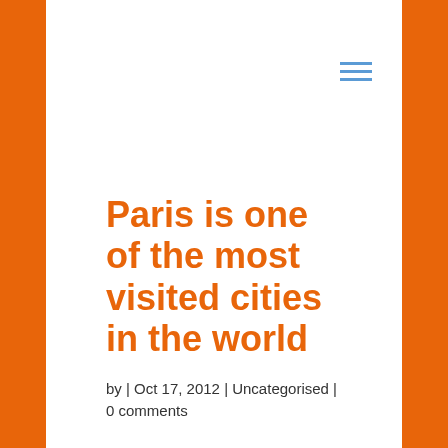Paris is one of the most visited cities in the world
by | Oct 17, 2012 | Uncategorised | 0 comments
Replica Celine Luggage Bags There are so many reviews online for the Samsung 46 LED Smart TV and these are probably worth you while to have